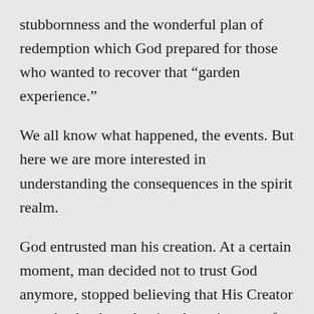stubbornness and the wonderful plan of redemption which God prepared for those who wanted to recover that “garden experience.”
We all know what happened, the events. But here we are more interested in understanding the consequences in the spirit realm.
God entrusted man his creation. At a certain moment, man decided not to trust God anymore, stopped believing that His Creator was absolutely and uniquely acting out of love for his creature. They (Man) began to believe that maybe God was hiding something. They questioned His love. So, they decided to do it their own way and chose to deliberately break God’s commandment, which was not seen as a way to prevent damage and pain anymore, but as a useless limitation that